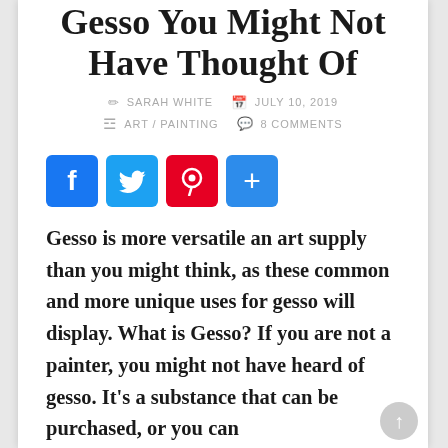Gesso You Might Not Have Thought Of
SARAH WHITE   JULY 10, 2019   ART / PAINTING   8 COMMENTS
[Figure (infographic): Social sharing buttons: Facebook (blue), Twitter (light blue), Pinterest (red), and a share/plus button (blue)]
Gesso is more versatile an art supply than you might think, as these common and more unique uses for gesso will display. What is Gesso? If you are not a painter, you might not have heard of gesso. It’s a substance that can be purchased, or you can